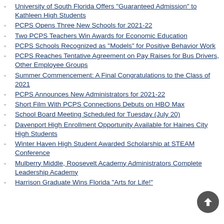University of South Florida Offers "Guaranteed Admission" to Kathleen High Students
PCPS Opens Three New Schools for 2021-22
Two PCPS Teachers Win Awards for Economic Education
PCPS Schools Recognized as "Models" for Positive Behavior Work
PCPS Reaches Tentative Agreement on Pay Raises for Bus Drivers, Other Employee Groups
Summer Commencement: A Final Congratulations to the Class of 2021
PCPS Announces New Administrators for 2021-22
Short Film With PCPS Connections Debuts on HBO Max
School Board Meeting Scheduled for Tuesday (July 20)
Davenport High Enrollment Opportunity Available for Haines City High Students
Winter Haven High Student Awarded Scholarship at STEAM Conference
Mulberry Middle, Roosevelt Academy Administrators Complete Leadership Academy
Harrison Graduate Wins Florida "Arts for Life!"